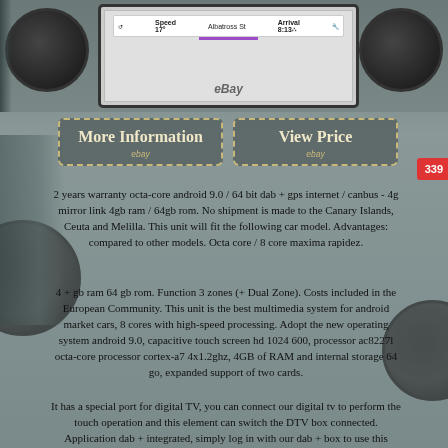[Figure (photo): Car multimedia screen device shown mounted in a frame, with navigation display showing speed 17, street name Albatross St, arrival time 8:13, and eBay watermark. Large speaker circles on left and right sides. Car silhouette visible on far left.]
[Figure (other): Two eBay listing buttons: 'More Information' and 'View Price', styled with dashed borders and gold/cream text on dark background with eBay sub-labels]
2 years warranty octa-core android 9.0 / 64 bit dab + gps internet / canbus - 4g mirror link 4gb ram / 64gb rom. No shipment is made to the Canary Islands, Ceuta and Melilla. This unit will fit the following car model. Advantages: compared to other models. Octa core / 8 core maxima rapidez.
4 + gb ram 64 gb rom. Function 3 zones (+ Dual Zone). Costs included in the European Community. This unit is the best multimedia system for android market cars, 8 cores with high-speed processing. Adopt the new operating system android 9.0, capacitive touch screen hd 1024 600, processor ac8227l octa-core processor cortex-a7 4x1.2ghz, 4GB of RAM and internal storage 64 go, expanded support of two cards.
It has a special port for digital TV, you can connect our digital tv to perform the touch operation and this element can switch the DTV box connected. Application dab + integrated, simply log in with our dab + box to use this feature. Application tpms integrated for displaying the tire pressure monitoring system,